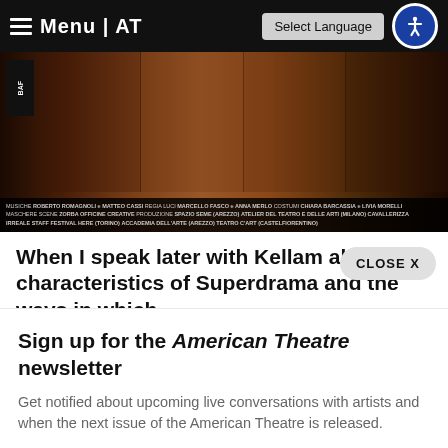Menu | AT
[Figure (photo): Theatre production photo strip with dark warm background and performer silhouettes. Contains credits text at bottom: MUSICHE ROBERTO ROMAGNOLI, MATTEO CASSI, REGIA LUCi MARCELLO FASCO, e ANNA MERLI, COSTUMI CHIARA BARCASSIA, e LIVIA MORELLI, MASCHERE SCENE ZORBA OFFICINE CREATIVE, PRODUZIONE SPAZIO SEME (AREZZO) ATELIER DEL TEATRO E DELLE ARTI (MILANO) CAVALLERIZZA IRREALE, STAFF FESTIVAL HERE (TORINO), ACCADEMIA DELL'ARTE (AREZZO), TEATRO C'ART (CASTELFIORENTINO)]
When I speak later with Kellam about the characteristics of Superdrama and the ways in which
Sign up for the American Theatre newsletter
Get notified about upcoming live conversations with artists and when the next issue of the American Theatre is released.
Sign up